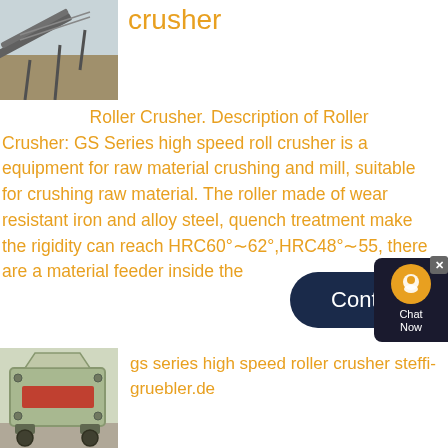[Figure (photo): Photo of an industrial conveyor belt system with aggregate material, taken outdoors.]
crusher
Roller Crusher. Description of Roller Crusher: GS Series high speed roll crusher is a equipment for raw material crushing and mill, suitable for crushing raw material. The roller made of wear resistant iron and alloy steel, quench treatment make the rigidity can reach HRC60°∼62°,HRC48°∼55, there are a material feeder inside the
[Figure (photo): Photo of a green industrial impact crusher machine inside a factory/workshop.]
gs series high speed roller crusher steffi-gruebler.de